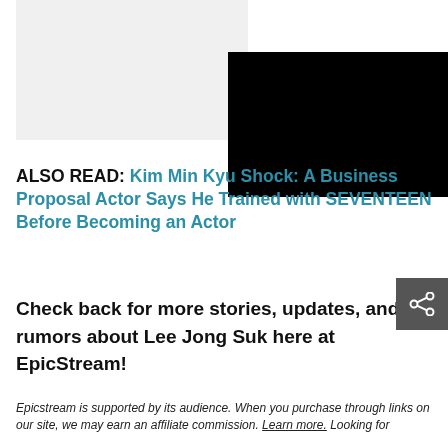[Figure (photo): Grey placeholder box on the left and black image/video box on the right, forming the top media area of a webpage.]
ALSO READ: Kim Min Kyu Shock: A Business Proposal Actor Says He Trained with SEVENTEEN Before Becoming an Actor
Check back for more stories, updates, and rumors about Lee Jong Suk here at EpicStream!
Epicstream is supported by its audience. When you purchase through links on our site, we may earn an affiliate commission. Learn more. Looking for